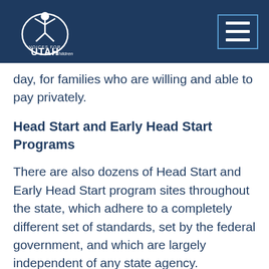Voices for Utah Children
day, for families who are willing and able to pay privately.
Head Start and Early Head Start Programs
There are also dozens of Head Start and Early Head Start program sites throughout the state, which adhere to a completely different set of standards, set by the federal government, and which are largely independent of any state agency.
(Whoa, that's enough! Take me back to